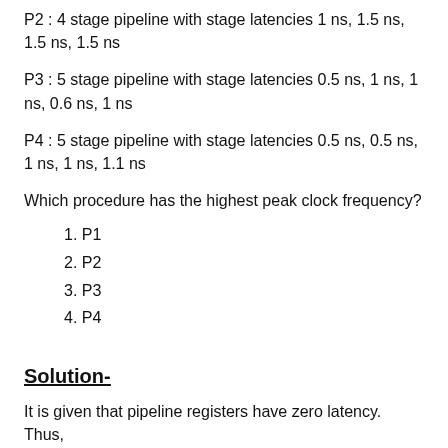P2 : 4 stage pipeline with stage latencies 1 ns, 1.5 ns, 1.5 ns, 1.5 ns
P3 : 5 stage pipeline with stage latencies 0.5 ns, 1 ns, 1 ns, 0.6 ns, 1 ns
P4 : 5 stage pipeline with stage latencies 0.5 ns, 0.5 ns, 1 ns, 1 ns, 1.1 ns
Which procedure has the highest peak clock frequency?
1. P1
2. P2
3. P3
4. P4
Solution-
It is given that pipeline registers have zero latency. Thus,